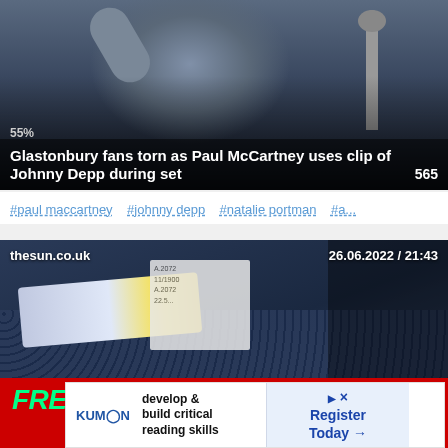[Figure (photo): Photo of Paul McCartney performing on stage with arm raised, in front of a microphone, with dark background]
Glastonbury fans torn as Paul McCartney uses clip of Johnny Depp during set
55%
565
#paul maccartney  #johnny depp  #natalie portman  #a...
[Figure (photo): Photo of a wallet with cards inside including what appears to be a receipt or ticket, dark navy fabric wallet]
thesun.co.uk
26.06.2022 / 21:43
[Figure (advertisement): FREESEXRPG advertisement with red background, green FREE text, white SEX text, pink RPG text, with close button X]
[Figure (advertisement): Kumon advertisement: develop & build critical reading skills, Register Today arrow button, with Kumon logo]